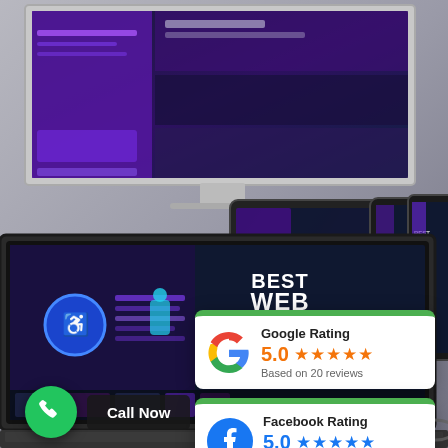[Figure (photo): Background showing multiple devices (desktop monitor, laptop, tablets, phones) displaying web design mockups with 'BEST WEB DESIGN' text on dark purple/navy screens, arranged on a gray surface]
[Figure (infographic): Google Rating card showing 5.0 stars based on 20 reviews with Google G logo]
[Figure (infographic): Facebook Rating card showing 5.0 stars based on 19 reviews with Facebook f logo]
Call Now